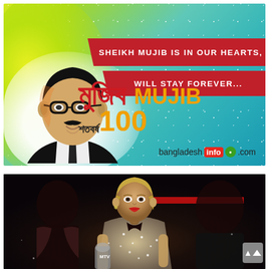[Figure (illustration): Mujib 100 commemorative banner. Features an illustrated portrait of Sheikh Mujibur Rahman on a gradient background (yellow-green to teal). Two red diagonal banners read 'SHEIKH MUJIB IS IN OUR HEARTS,' and 'WILL STAY FOREVER...'. Bangla script 'মুজিব শতবর্ষ' with 'MUJIB 100' in yellow text. 'bangladeshinfo.com' logo in bottom right.]
[Figure (photo): Photo of a woman (Taylor Swift) in a silver/sparkly outfit at what appears to be a music award show (MTV VMAs). Dark concert stage background with red lighting strip. Other people visible in background.]